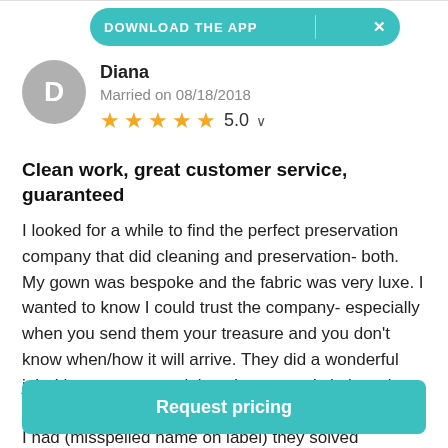DOWNLOAD THE APP
[Figure (illustration): Circular avatar with letter D on grey background]
Diana
Married on 08/18/2018
★★★★★ 5.0
Clean work, great customer service, guaranteed
I looked for a while to find the perfect preservation company that did cleaning and preservation- both. My gown was bespoke and the fabric was very luxe. I wanted to know I could trust the company- especially when you send them your treasure and you don't know when/how it will arrive. They did a wonderful job. I have zero complaints. It was ready in less time than they said, and the price was fair. The only issue I had (misspelled name on label) they solved
Request pricing